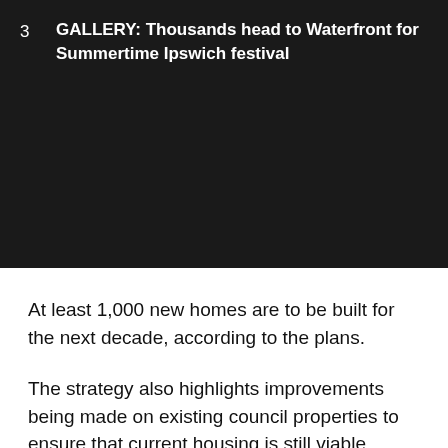3 GALLERY: Thousands head to Waterfront for Summertime Ipswich festival
At least 1,000 new homes are to be built for the next decade, according to the plans.
The strategy also highlights improvements being made on existing council properties to ensure that current housing is still viable.